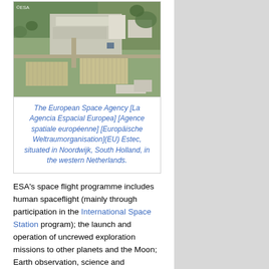[Figure (photo): Aerial photograph of ESA ESTEC facility in Noordwijk, South Holland, Netherlands, showing buildings, parking lots and surrounding landscape. ESA logo visible in top left corner.]
The European Space Agency [La Agencia Espacial Europea] [Agence spatiale européenne] [Europäische Weltraumorganisation](EU) Estec, situated in Noordwijk, South Holland, in the western Netherlands.
ESA's space flight programme includes human spaceflight (mainly through participation in the International Space Station program); the launch and operation of uncrewed exploration missions to other planets and the Moon; Earth observation, science and telecommunication; designing launch vehicles; and maintaining a major spaceport, the The Guiana Space Centre [Centre Spatial